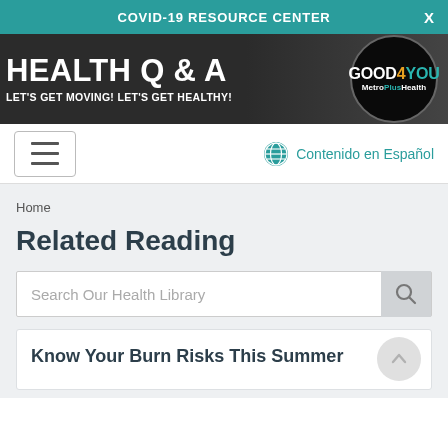COVID-19 RESOURCE CENTER
[Figure (logo): Health Q & A banner with tagline 'LET'S GET MOVING! LET'S GET HEALTHY!' and GOOD4YOU MetroPlusHealth logo on dark background]
Contenido en Español
Home
Related Reading
Search Our Health Library
Know Your Burn Risks This Summer